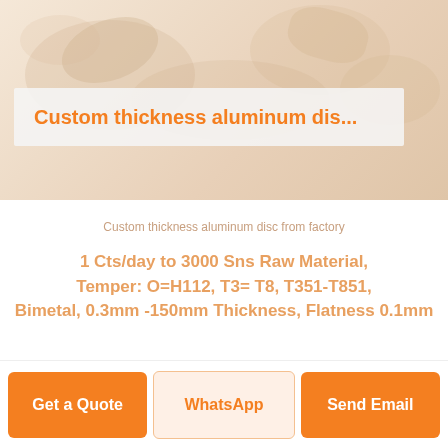[Figure (photo): Product image background showing aluminum disc/plate, faded warm beige tones]
Custom thickness aluminum dis...
Custom thickness aluminum disc from factory
1 Cts/day to 3000 Sns Raw Material, Temper: O=H112, T3= T8, T351-T851, Bimetal, 0.3mm-150mm Thickness, Flatness 0.1mm
Get a Quote
WhatsApp
Send Email